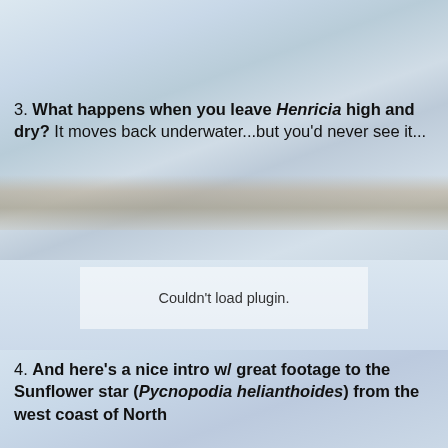3. What happens when you leave Henricia high and dry? It moves back underwater...but you'd never see it...
[Figure (photo): Snowy or icy coastal scene with a rocky band, light blue-grey tones]
Couldn't load plugin.
4. And here's a nice intro w/ great footage to the Sunflower star (Pycnopodia helianthoides) from the west coast of North